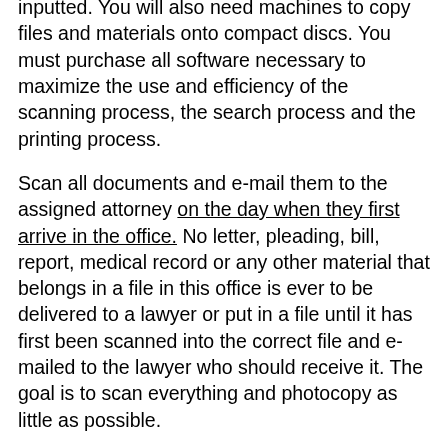inputted. You will also need machines to copy files and materials onto compact discs. You must purchase all software necessary to maximize the use and efficiency of the scanning process, the search process and the printing process.
Scan all documents and e-mail them to the assigned attorney on the day when they first arrive in the office. No letter, pleading, bill, report, medical record or any other material that belongs in a file in this office is ever to be delivered to a lawyer or put in a file until it has first been scanned into the correct file and e-mailed to the lawyer who should receive it. The goal is to scan everything and photocopy as little as possible.